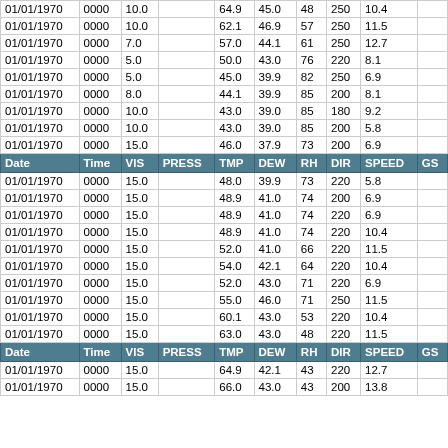| Date | Time | VIS | PRESS | TMP | DEW | RH | DIR | SPEED | GS |
| --- | --- | --- | --- | --- | --- | --- | --- | --- | --- |
| 01/01/1970 | 0000 | 10.0 |  | 64.9 | 45.0 | 48 | 250 | 10.4 |  |
| 01/01/1970 | 0000 | 10.0 |  | 62.1 | 46.9 | 57 | 250 | 11.5 |  |
| 01/01/1970 | 0000 | 7.0 |  | 57.0 | 44.1 | 61 | 250 | 12.7 |  |
| 01/01/1970 | 0000 | 5.0 |  | 50.0 | 43.0 | 76 | 220 | 8.1 |  |
| 01/01/1970 | 0000 | 5.0 |  | 45.0 | 39.9 | 82 | 250 | 6.9 |  |
| 01/01/1970 | 0000 | 8.0 |  | 44.1 | 39.9 | 85 | 200 | 8.1 |  |
| 01/01/1970 | 0000 | 10.0 |  | 43.0 | 39.0 | 85 | 180 | 9.2 |  |
| 01/01/1970 | 0000 | 10.0 |  | 43.0 | 39.0 | 85 | 200 | 5.8 |  |
| 01/01/1970 | 0000 | 15.0 |  | 46.0 | 37.9 | 73 | 200 | 6.9 |  |
| HEADER |  |  |  |  |  |  |  |  |  |
| 01/01/1970 | 0000 | 15.0 |  | 48.0 | 39.9 | 73 | 220 | 5.8 |  |
| 01/01/1970 | 0000 | 15.0 |  | 48.9 | 41.0 | 74 | 200 | 6.9 |  |
| 01/01/1970 | 0000 | 15.0 |  | 48.9 | 41.0 | 74 | 220 | 6.9 |  |
| 01/01/1970 | 0000 | 15.0 |  | 48.9 | 41.0 | 74 | 220 | 10.4 |  |
| 01/01/1970 | 0000 | 15.0 |  | 52.0 | 41.0 | 66 | 220 | 11.5 |  |
| 01/01/1970 | 0000 | 15.0 |  | 54.0 | 42.1 | 64 | 220 | 10.4 |  |
| 01/01/1970 | 0000 | 15.0 |  | 52.0 | 43.0 | 71 | 220 | 6.9 |  |
| 01/01/1970 | 0000 | 15.0 |  | 55.0 | 46.0 | 71 | 250 | 11.5 |  |
| 01/01/1970 | 0000 | 15.0 |  | 60.1 | 43.0 | 53 | 220 | 10.4 |  |
| 01/01/1970 | 0000 | 15.0 |  | 63.0 | 43.0 | 48 | 220 | 11.5 |  |
| HEADER |  |  |  |  |  |  |  |  |  |
| 01/01/1970 | 0000 | 15.0 |  | 64.9 | 42.1 | 43 | 220 | 12.7 |  |
| 01/01/1970 | 0000 | 15.0 |  | 66.0 | 43.0 | 43 | 200 | 13.8 |  |